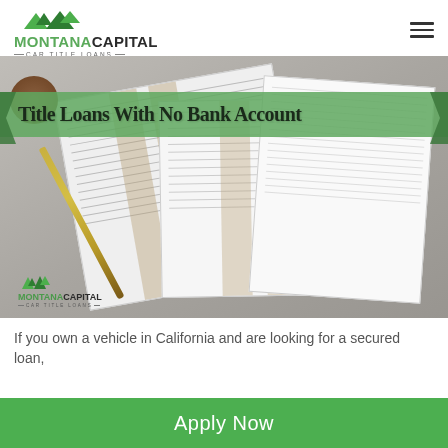[Figure (logo): Montana Capital Car Title Loans logo with mountain graphic]
[Figure (photo): Hero banner image showing financial ledger documents and a pen on a desk, with green banner overlay reading 'Title Loans With No Bank Account' and Montana Capital Car Title Loans logo watermark]
If you own a vehicle in California and are looking for a secured loan,
[Figure (other): Green 'Apply Now' button]